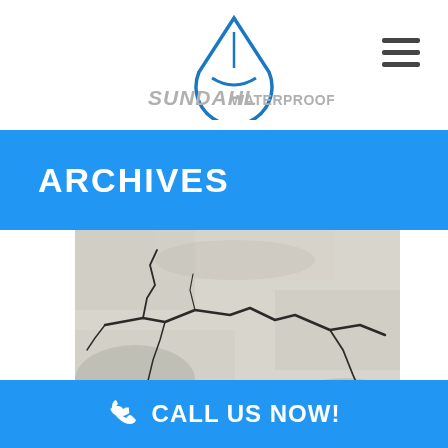[Figure (logo): Sundahl Waterproofing logo with water drop icon above company name in grey metallic lettering]
ARCHIVES
[Figure (photo): Close-up photo of cracked concrete surface showing multiple hairline cracks spreading across a light grey concrete wall or foundation]
CALL US NOW!